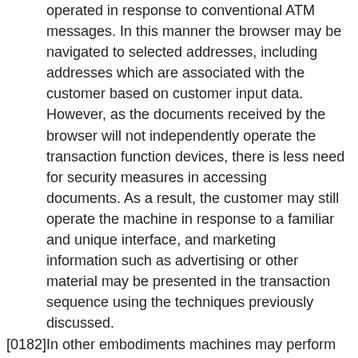operated in response to conventional ATM messages. In this manner the browser may be navigated to selected addresses, including addresses which are associated with the customer based on customer input data. However, as the documents received by the browser will not independently operate the transaction function devices, there is less need for security measures in accessing documents. As a result, the customer may still operate the machine in response to a familiar and unique interface, and marketing information such as advertising or other material may be presented in the transaction sequence using the techniques previously discussed.
[0182] In other embodiments machines may perform some device functions based on conventional messages, while others may be performed in response to instructions in HTML documents or other HTTP messages. For example HTML documents may provide considerable data for use by printers or other output devices. Some